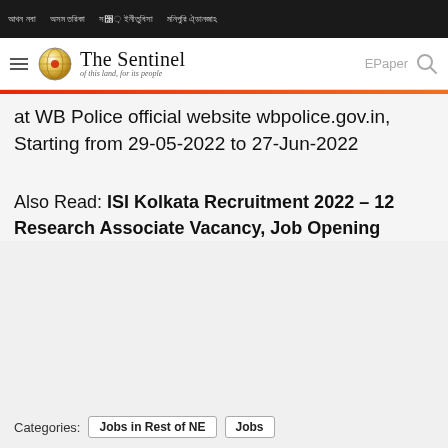The Sentinel - of this land, for its people
at WB Police official website wbpolice.gov.in, Starting from 29-05-2022 to 27-Jun-2022
Also Read: ISI Kolkata Recruitment 2022 – 12 Research Associate Vacancy, Job Opening
Categories: Jobs in Rest of NE   Jobs